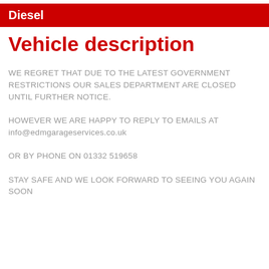Diesel
Vehicle description
WE REGRET THAT DUE TO THE LATEST GOVERNMENT RESTRICTIONS OUR SALES DEPARTMENT ARE CLOSED UNTIL FURTHER NOTICE.
HOWEVER WE ARE HAPPY TO REPLY TO EMAILS AT info@edmgarageservices.co.uk
OR BY PHONE ON 01332 519658
STAY SAFE AND WE LOOK FORWARD TO SEEING YOU AGAIN SOON